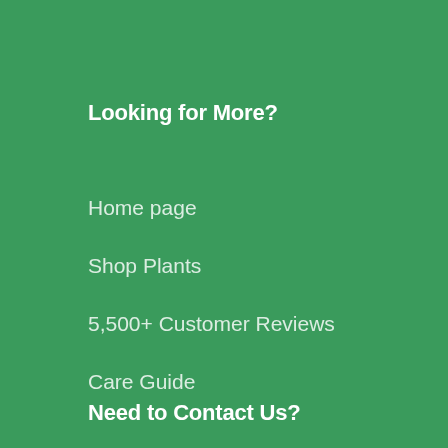Looking for More?
Home page
Shop Plants
5,500+ Customer Reviews
Care Guide
Help Center
Need to Contact Us?